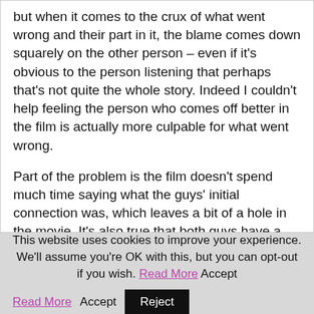but when it comes to the crux of what went wrong and their part in it, the blame comes down squarely on the other person – even if it's obvious to the person listening that perhaps that's not quite the whole story. Indeed I couldn't help feeling the person who comes off better in the film is actually more culpable for what went wrong.
Part of the problem is the film doesn't spend much time saying what the guys' initial connection was, which leaves a bit of a hole in the movie. It's also true that both guys have a rather obnoxious side – as well as a lot of charm – but it feels as is one of the guys is
This website uses cookies to improve your experience. We'll assume you're OK with this, but you can opt-out if you wish. Read More Accept Reject